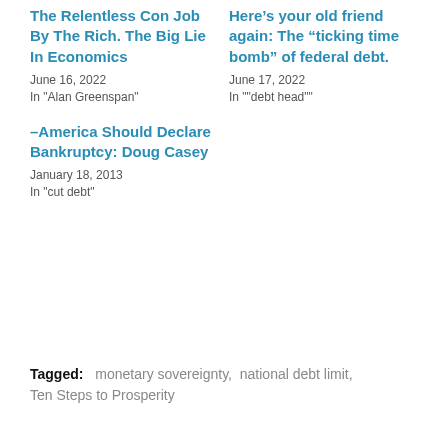The Relentless Con Job By The Rich. The Big Lie In Economics
June 16, 2022
In "Alan Greenspan"
Here’s your old friend again: The “ticking time bomb” of federal debt.
June 17, 2022
In ""debt head""
–America Should Declare Bankruptcy: Doug Casey
January 18, 2013
In "cut debt"
Tagged:   monetary sovereignty,  national debt limit,  Ten Steps to Prosperity